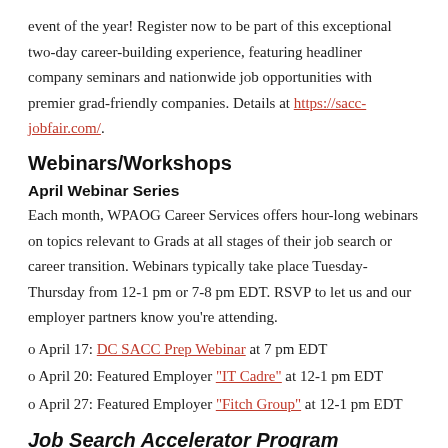event of the year! Register now to be part of this exceptional two-day career-building experience, featuring headliner company seminars and nationwide job opportunities with premier grad-friendly companies. Details at https://sacc-jobfair.com/.
Webinars/Workshops
April Webinar Series
Each month, WPAOG Career Services offers hour-long webinars on topics relevant to Grads at all stages of their job search or career transition. Webinars typically take place Tuesday-Thursday from 12-1 pm or 7-8 pm EDT. RSVP to let us and our employer partners know you're attending.
o April 17: DC SACC Prep Webinar at 7 pm EDT
o April 20: Featured Employer "IT Cadre" at 12-1 pm EDT
o April 27: Featured Employer "Fitch Group" at 12-1 pm EDT
Job Search Accelerator Program